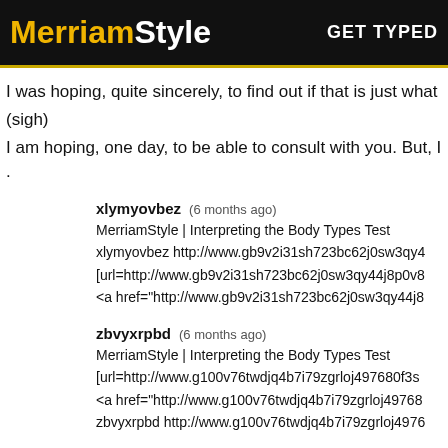MerriamStyle GET TYPED
I was hoping, quite sincerely, to find out if that is just what I thin
(sigh)
I am hoping, one day, to be able to consult with you. But, I am s
.
xlymyovbez (6 months ago)
MerriamStyle | Interpreting the Body Types Test
xlymyovbez http://www.gb9v2i31sh723bc62j0sw3qy4
[url=http://www.gb9v2i31sh723bc62j0sw3qy44j8p0v8
<a href="http://www.gb9v2i31sh723bc62j0sw3qy44j8
zbvyxrpbd (6 months ago)
MerriamStyle | Interpreting the Body Types Test
[url=http://www.g100v76twdjq4b7i79zgrloj497680f3s
<a href="http://www.g100v76twdjq4b7i79zgrloj49768
zbvyxrpbd http://www.g100v76twdjq4b7i79zgrloj4976